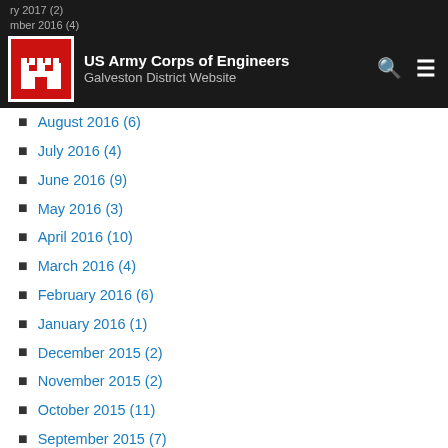US Army Corps of Engineers Galveston District Website
August 2016 (6)
July 2016 (4)
June 2016 (9)
May 2016 (3)
April 2016 (10)
March 2016 (4)
February 2016 (6)
January 2016 (1)
December 2015 (2)
November 2015 (2)
October 2015 (11)
September 2015 (7)
August 2015 (8)
July 2015 (6)
June 2015 (5)
May 2015 (11)